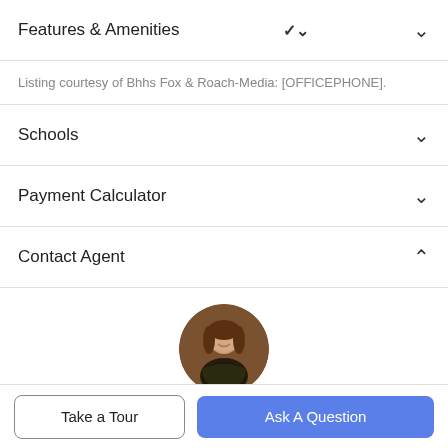Features & Amenities
Listing courtesy of Bhhs Fox & Roach-Media: [OFFICEPHONE].
Schools
Payment Calculator
Contact Agent
[Figure (photo): Circular profile photo of agent Missy Wise]
Missy Wise
Take a Tour | Ask A Question